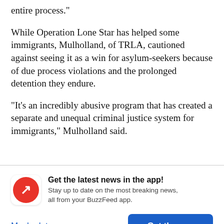entire process."
While Operation Lone Star has helped some immigrants, Mulholland, of TRLA, cautioned against seeing it as a win for asylum-seekers because of due process violations and the prolonged detention they endure.
"It's an incredibly abusive program that has created a separate and unequal criminal justice system for immigrants," Mulholland said.
[Figure (infographic): BuzzFeed app promotion banner with red circular logo featuring a white arrow, bold headline 'Get the latest news in the app!', subtext 'Stay up to date on the most breaking news, all from your BuzzFeed app.', and two buttons: 'Maybe later' (blue text) and 'Get the app' (blue filled button).]